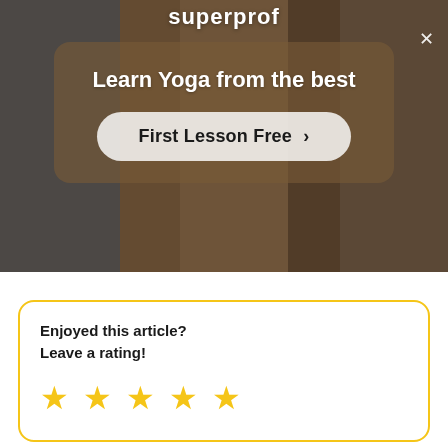[Figure (screenshot): Superprof website banner with blurred collage background showing people doing yoga and playing instruments. A semi-transparent brown modal card overlays the center with the heading 'Learn Yoga from the best' and a 'First Lesson Free >' call-to-action button. An X close button is in the top right corner. The Superprof logo appears at the top center.]
Enjoyed this article?
Leave a rating!
[Figure (infographic): Five gold star rating icons in a row]